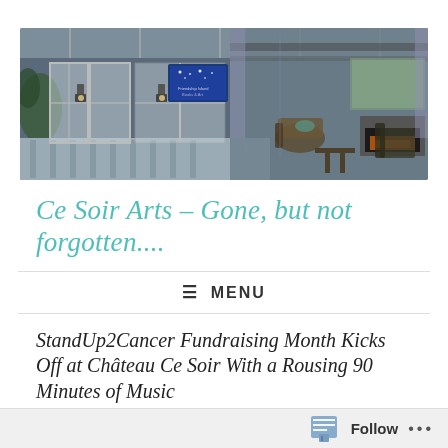[Figure (screenshot): Screenshot of a virtual interior/conservatory scene showing a greenhouse-style room with French doors, pendant lantern lights, plants, and a sitting area with fireplace and TV on the right side. Blue glowing sign visible in center top area.]
Ce Soir Arts – Gone, but not forgotten....
≡ MENU
StandUp2Cancer Fundraising Month Kicks Off at Château Ce Soir With a Rousing 90 Minutes of Music